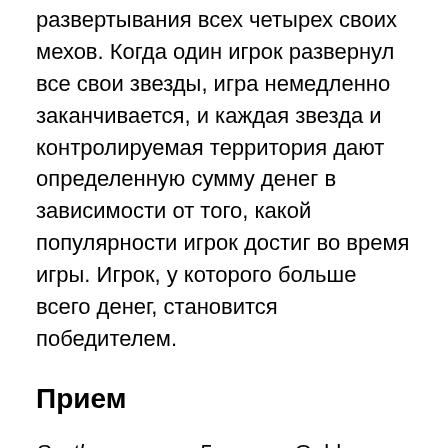развертывания всех четырех своих мехов. Когда один игрок развернул все свои звезды, игра немедленно заканчивается, и каждая звезда и контролируемая территория дают определенную сумму денег в зависимости от того, какой популярности игрок достиг во время игры. Игрок, у которого больше всего денег, становится победителем.
Прием
Scythe выиграл 5 наград Golden Geek в 2016 году от BoardGameGeek , выиграв в категории «Настольная игра года», «Художественное произведение и презентация», «Стратегическая игра» и «Соло-игра», а также заняв второе место в рейтинге «Самые